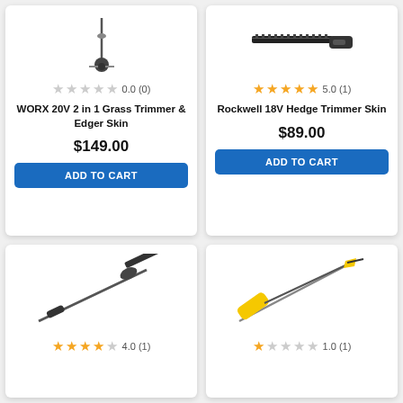[Figure (photo): WORX 20V 2 in 1 Grass Trimmer & Edger Skin product image]
0.0 (0)
WORX 20V 2 in 1 Grass Trimmer & Edger Skin
$149.00
ADD TO CART
[Figure (photo): Rockwell 18V Hedge Trimmer Skin product image]
5.0 (1)
Rockwell 18V Hedge Trimmer Skin
$89.00
ADD TO CART
[Figure (photo): Pole hedge trimmer product image (dark colored)]
4.0 (1)
[Figure (photo): Yellow pole pruner/saw product image]
1.0 (1)